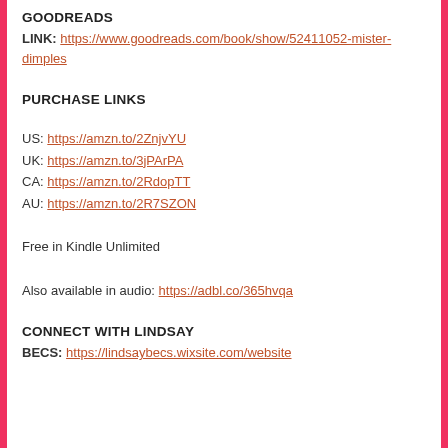GOODREADS
LINK: https://www.goodreads.com/book/show/52411052-mister-dimples
PURCHASE LINKS
US: https://amzn.to/2ZnjvYU
UK: https://amzn.to/3jPArPA
CA: https://amzn.to/2RdopTT
AU: https://amzn.to/2R7SZON
Free in Kindle Unlimited
Also available in audio: https://adbl.co/365hvqa
CONNECT WITH LINDSAY
BECS: https://lindsaybecs.wixsite.com/website